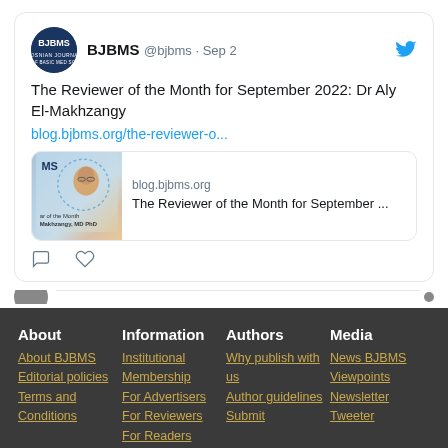[Figure (screenshot): Twitter/X post by BJBMS account dated Sep 2. Avatar shows BJBMS logo. Post text: 'The Reviewer of the Month for September 2022: Dr Aly El-Makhzangy' with link blog.bjbms.org/the-reviewer-o... A link preview card shows blog.bjbms.org and 'The Reviewer of the Month for September ...' with an image of a person. Below are comment and like icons.]
About
About BJBMS
Editorial policies
Terms and Conditions
Information
Institutional Membership
For Advertisers
For Reviewers
For Readers
For librarians
Authors
Why publish with us
Author guidelines
Submit
Media
News BJBMS
Viewpoints
Newsletter
Tweeter